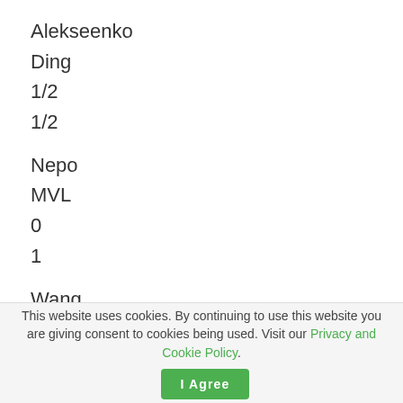Alekseenko
Ding
1/2
1/2
Nepo
MVL
0
1
Wang
Caruana
1/2
1/2
This website uses cookies. By continuing to use this website you are giving consent to cookies being used. Visit our Privacy and Cookie Policy.